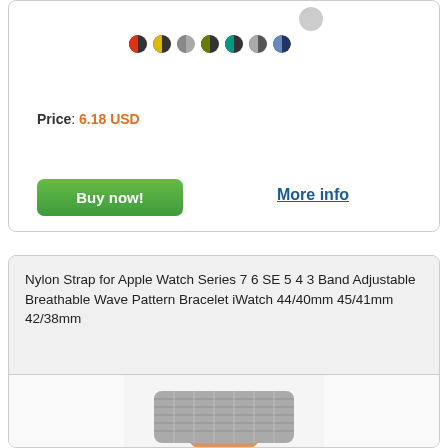[Figure (other): Color swatch dots selector showing 7 color variants plus one selected (gray) swatch circle]
Price: 6.18 USD
Buy now!
More info
Nylon Strap for Apple Watch Series 7 6 SE 5 4 3 Band Adjustable Breathable Wave Pattern Bracelet iWatch 44/40mm 45/41mm 42/38mm
[Figure (photo): Photo of a person holding a gray nylon watch band for Apple Watch]